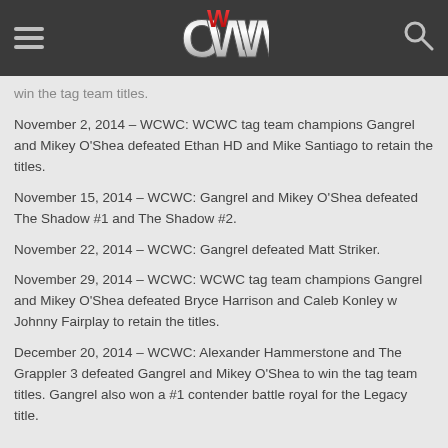OWW
win the tag team titles.
November 2, 2014 – WCWC: WCWC tag team champions Gangrel and Mikey O'Shea defeated Ethan HD and Mike Santiago to retain the titles.
November 15, 2014 – WCWC: Gangrel and Mikey O'Shea defeated The Shadow #1 and The Shadow #2.
November 22, 2014 – WCWC: Gangrel defeated Matt Striker.
November 29, 2014 – WCWC: WCWC tag team champions Gangrel and Mikey O'Shea defeated Bryce Harrison and Caleb Konley w Johnny Fairplay to retain the titles.
December 20, 2014 – WCWC: Alexander Hammerstone and The Grappler 3 defeated Gangrel and Mikey O'Shea to win the tag team titles. Gangrel also won a #1 contender battle royal for the Legacy title.